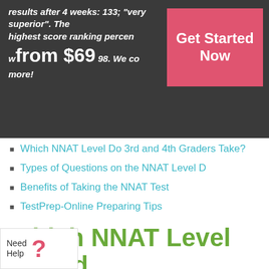results after 4 weeks: 133; "very superior". The highest score ranking percen… from $69 …98. We co… more!
[Figure (other): Red 'Get Started Now' button]
Which NNAT Level Do 3rd and 4th Graders Take?
Types of Questions on the NNAT Level D
Benefits of Taking the NNAT Test
TestPrep-Online Preparing Tips
Prepare for the NNAT Level D Test!
Which NNAT Level Do 3rd and 4th Graders Take?
[Figure (other): Need Help chat widget with question mark icon]